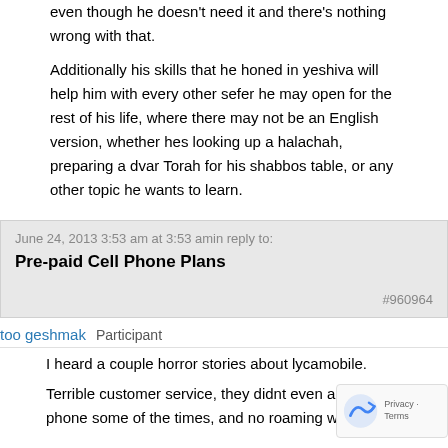even though he doesn't need it and there's nothing wrong with that.
Additionally his skills that he honed in yeshiva will help him with every other sefer he may open for the rest of his life, where there may not be an English version, whether hes looking up a halachah, preparing a dvar Torah for his shabbos table, or any other topic he wants to learn.
June 24, 2013 3:53 am at 3:53 amin reply to:
Pre-paid Cell Phone Plans
#960964
too geshmak   Participant
I heard a couple horror stories about lycamobile. Terrible customer service, they didnt even answer the phone some of the times, and no roaming whatsoever.